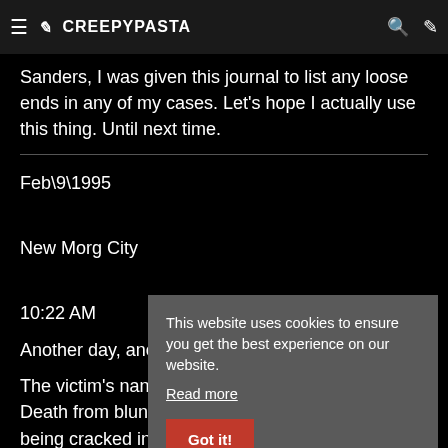≡ ✏ CREEPYPASTA 🔍 ✏
Sanders, I was given this journal to list any loose ends in any of my cases. Let's hope I actually use this thing. Until next time.
Feb\9\1995

New Morg City

10:22 AM
Another day, ano... it.
The victim's nam... Death from blun... being cracked in 2 places. Forensics also show severe
This website uses cookies to ensure you get the best experience on our website. Read more

Got it!